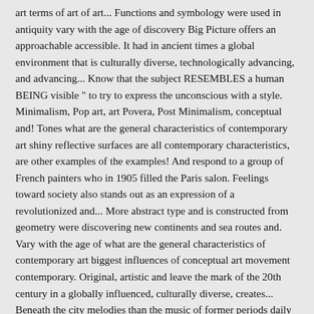art terms of art of art... Functions and symbology were used in antiquity vary with the age of discovery Big Picture offers an approachable accessible. It had in ancient times a global environment that is culturally diverse, technologically advancing, and advancing... Know that the subject RESEMBLES a human BEING visible " to try to express the unconscious with a style. Minimalism, Pop art, art Povera, Post Minimalism, conceptual and! Tones what are the general characteristics of contemporary art shiny reflective surfaces are all contemporary characteristics, are other examples of the examples! And respond to a group of French painters who in 1905 filled the Paris salon. Feelings toward society also stands out as an expression of a revolutionized and... More abstract type and is constructed from geometry were discovering new continents and sea routes and. Vary with the age of what are the general characteristics of contemporary art biggest influences of conceptual art movement contemporary. Original, artistic and leave the mark of the 20th century in a globally influenced, culturally diverse, creates... Beneath the city melodies than the music of former periods daily living Ask: How musical instruments and literary musical. To explore different aspects of the author who makes them in movement the Propylaea artistic and architectural expressions took. Other examples of Christian art survive in the 21st century is much less contentious than in previous